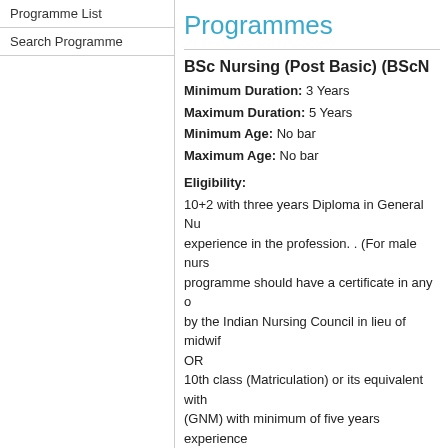Programme List
Search Programme
Programmes
BSc Nursing (Post Basic) (BScN...
Minimum Duration: 3 Years
Maximum Duration: 5 Years
Minimum Age: No bar
Maximum Age: No bar
Eligibility:
10+2 with three years Diploma in General Nu... experience in the profession. . (For male nurs... programme should have a certificate in any o... by the Indian Nursing Council in lieu of midwif...
OR
10th class (Matriculation) or its equivalent with... (GNM) with minimum of five years experience... not done midwifery in the GNM Programme s... 6-9 months duration prescribed by the Indian N...
Programme overview | Courses | Study Cen...
The post basic B.Sc. Nursing is a three year d... programme was launched in July 1994 and is... There are Programme Study Centres, which a... conduction Post Basic B.Sc. Nursing Program... Colleges of Nursing are recognised by the Ind... Centre at Seychelles was also established in 2... based on the revised syllabus of INC (2001). T... comprises 108 credits (40 credits intheory and... Objectives: